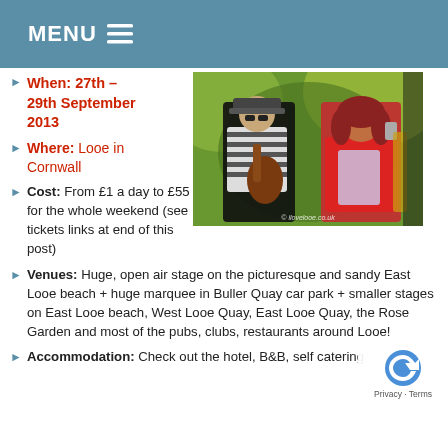MENU ☰
When: 27th – 29th September 2013
[Figure (photo): Two performers on stage: one playing guitar wearing a striped shirt and hat, another in a red dress costume, with green background lighting]
Where: Looe in Cornwall
Cost: From £1 a day to £55 for the whole weekend (see tickets links at end of this post)
Venues: Huge, open air stage on the picturesque and sandy East Looe beach + huge marquee in Buller Quay car park + smaller stages on East Looe beach, West Looe Quay, East Looe Quay, the Rose Garden and most of the pubs, clubs, restaurants around Looe!
Accommodation: Check out the hotel, B&B, self catering